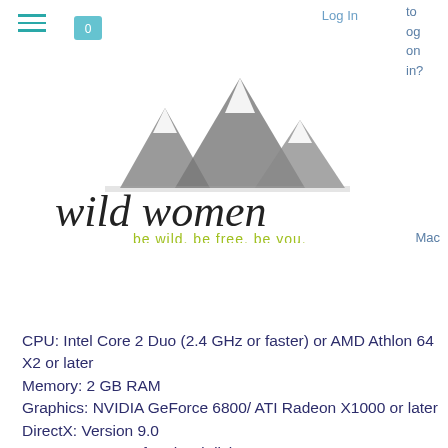Log In
[Figure (logo): Wild Women logo with mountain peaks graphic and tagline 'be wild. be free. be you.']
CPU: Intel Core 2 Duo (2.4 GHz or faster) or AMD Athlon 64 X2 or later
Memory: 2 GB RAM
Graphics: NVIDIA GeForce 6800/ ATI Radeon X1000 or later
DirectX: Version 9.0
Storage: 512 MB free hard disk space
Additional Notes:
You will not be able to install this game unless your video drivers are up to date.
Recommended:
OS